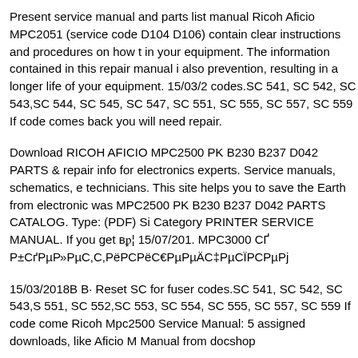Present service manual and parts list manual Ricoh Aficio MPC2051 (service code D104 D106) contain clear instructions and procedures on how to repair in your equipment. The information contained in this repair manual is not also prevention, resulting in a longer life of your equipment. 15/03/2… codes.SC 541, SC 542, SC 543,SC 544, SC 545, SC 547, SC 551, SC… 555, SC 557, SC 559 If code comes back you will need repair.
Download RICOH AFICIO MPC2500 PK B230 B237 D042 PARTS… & repair info for electronics experts. Service manuals, schematics, e… technicians. This site helps you to save the Earth from electronic was… MPC2500 PK B230 B237 D042 PARTS CATALOG. Type: (PDF) Si… Category PRINTER SERVICE MANUAL. If you get в… 15/07/201… MPC3000 СÐ РµРСÑÑ€РµС‚РµРёРСРµРёС‡РµСЇРСРµРj
15/03/2018B B· Reset SC for fuser codes.SC 541, SC 542, SC 543,S… 551, SC 552,SC 553, SC 554, SC 555, SC 557, SC 559 If code come… Ricoh Mpc2500 Service Manual: 5 assigned downloads, like Aficio M… Manual from docshop